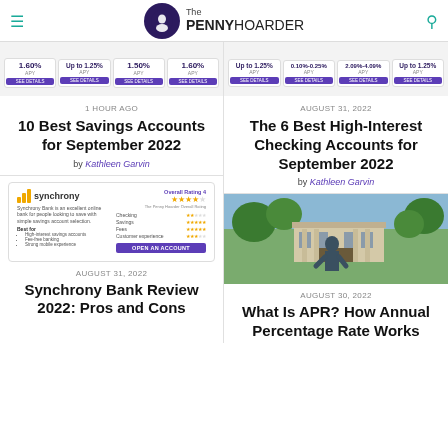The Penny Hoarder
[Figure (screenshot): Banner showing savings account rates: 1.60% APY, Up to 1.25% APY, 1.50% APY, 1.60% APY with SEE DETAILS buttons]
[Figure (screenshot): Banner showing high-interest checking rates: Up to 1.25% APY, 0.10% - 0.25% APY, 2.09%-4.09% APY, Up to 1.25% APY with SEE DETAILS buttons]
1 HOUR AGO
10 Best Savings Accounts for September 2022
by Kathleen Garvin
AUGUST 31, 2022
The 6 Best High-Interest Checking Accounts for September 2022
by Kathleen Garvin
[Figure (screenshot): Synchrony Bank review card showing Overall Rating 4 stars, Checking 2 stars, Savings 5 stars, Fees 5 stars, Customer experience 3 stars, with OPEN AN ACCOUNT button]
[Figure (photo): Older man with arms crossed standing outdoors in front of a building with trees]
AUGUST 31, 2022
Synchrony Bank Review 2022: Pros and Cons
AUGUST 30, 2022
What Is APR? How Annual Percentage Rate Works